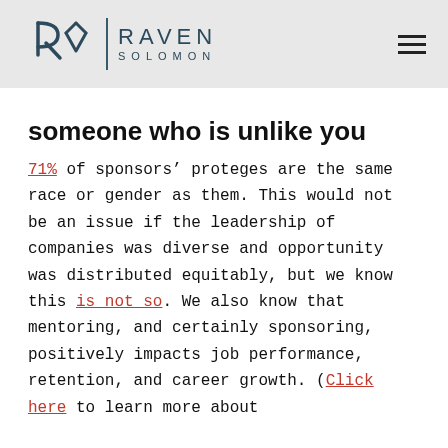[Figure (logo): Raven Solomon logo with stylized RS monogram and vertical divider, followed by RAVEN SOLOMON text]
someone who is unlike you
71% of sponsors’ proteges are the same race or gender as them. This would not be an issue if the leadership of companies was diverse and opportunity was distributed equitably, but we know this is not so. We also know that mentoring, and certainly sponsoring, positively impacts job performance, retention, and career growth. (Click here to learn more about